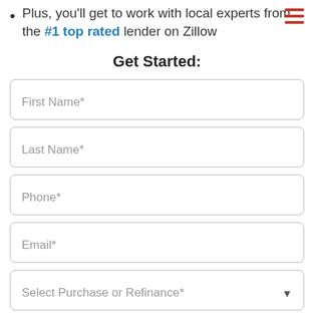Plus, you'll get to work with local experts from the #1 top rated lender on Zillow
Get Started:
First Name*
Last Name*
Phone*
Email*
Select Purchase or Refinance*